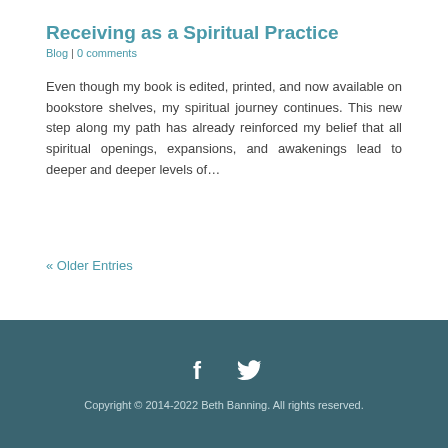Receiving as a Spiritual Practice
Blog | 0 comments
Even though my book is edited, printed, and now available on bookstore shelves, my spiritual journey continues. This new step along my path has already reinforced my belief that all spiritual openings, expansions, and awakenings lead to deeper and deeper levels of…
« Older Entries
Copyright © 2014-2022 Beth Banning. All rights reserved.